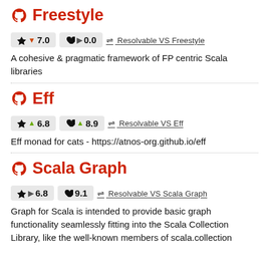Freestyle
★ ▼ 7.0   ♥ ▶ 0.0   ⇌ Resolvable VS Freestyle
A cohesive & pragmatic framework of FP centric Scala libraries
Eff
★ ▲ 6.8   ♥ ▲ 8.9   ⇌ Resolvable VS Eff
Eff monad for cats - https://atnos-org.github.io/eff
Scala Graph
★ ▶ 6.8   ♥ 9.1   ⇌ Resolvable VS Scala Graph
Graph for Scala is intended to provide basic graph functionality seamlessly fitting into the Scala Collection Library, like the well-known members of scala.collection